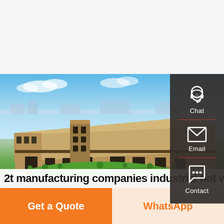[Figure (photo): Aerial view of a large industrial manufacturing facility with long warehouse buildings, green lawn area, blue sky with light clouds, and surrounding roads with parked vehicles.]
2t manufacturing companies industrial hot water
Get a Quote
WhatsApp